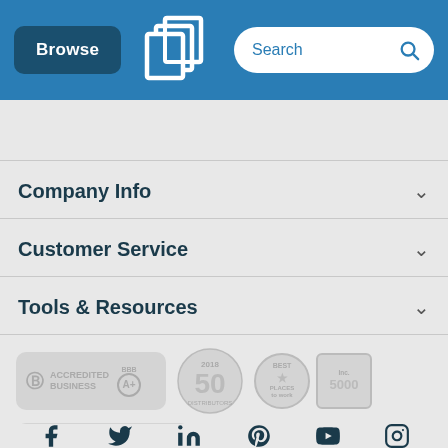Browse | [Logo] | Search
Company Info
Customer Service
Tools & Resources
[Figure (logo): BBB Accredited Business A+ badge, 2018 Top 50 Distributors badge, Best Places to Work badge, Inc. 5000 badge, 4.9 Google Customer Reviews badge]
[Figure (infographic): Social media icons: Facebook, Twitter, LinkedIn, Pinterest, YouTube, Instagram]